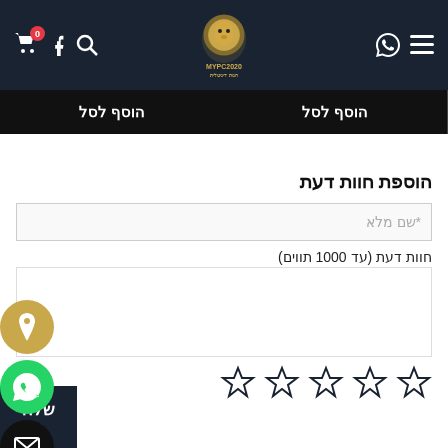[Figure (screenshot): Website navigation bar with dark navy background, search/facebook/cart icons on left, lion logo (MYPC2020) in center, WhatsApp and menu icons on right]
הוסף לסל הוסף לסל
הוספת חוות דעת
*שם מלא
חוות דעת (עד 1000 תווים)
[Figure (infographic): Five empty star rating icons in a row]
שלח